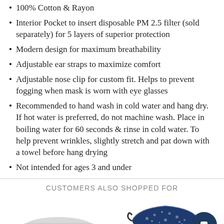100% Cotton & Rayon
Interior Pocket to insert disposable PM 2.5 filter (sold separately) for 5 layers of superior protection
Modern design for maximum breathability
Adjustable ear straps to maximize comfort
Adjustable nose clip for custom fit. Helps to prevent fogging when mask is worn with eye glasses
Recommended to hand wash in cold water and hang dry. If hot water is preferred, do not machine wash. Place in boiling water for 60 seconds & rinse in cold water. To help prevent wrinkles, slightly stretch and pat down with a towel before hang drying
Not intended for ages 3 and under
CUSTOMERS ALSO SHOPPED FOR
[Figure (photo): Two face mask product thumbnails shown below the 'Customers Also Shopped For' section. Left product shows a light colored mask, right product shows a navy blue patterned mask. A dark blue circular chat bubble icon is visible in the bottom right.]